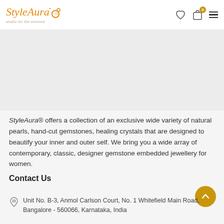StyleAura® — Studio for the evolved. Header navigation with wishlist, cart (0), and menu icons.
[Figure (photo): Gray placeholder area representing a product image section]
StyleAura® offers a collection of an exclusive wide variety of natural pearls, hand-cut gemstones, healing crystals that are designed to beautify your inner and outer self. We bring you a wide array of contemporary, classic, designer gemstone embedded jewellery for women.
Contact Us
Unit No. B-3, Anmol Carlson Court, No. 1 Whitefield Main Road, Bangalore - 560066, Karnataka, India